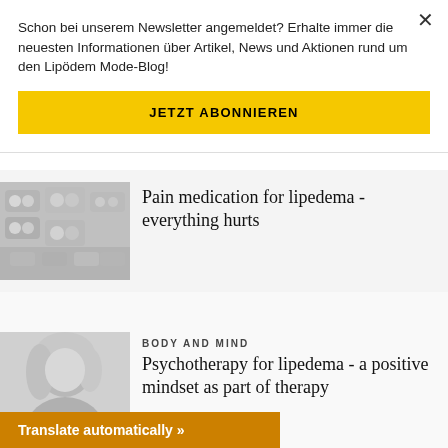Schon bei unserem Newsletter angemeldet? Erhalte immer die neuesten Informationen über Artikel, News und Aktionen rund um den Lipödem Mode-Blog!
JETZT ABONNIEREN
[Figure (photo): Grayscale photo of various medication blister packs and pills]
Pain medication for lipedema - everything hurts
[Figure (photo): Grayscale portrait photo of a woman with blonde hair]
BODY AND MIND
Psychotherapy for lipedema - a positive mindset as part of therapy
Translate automatically »